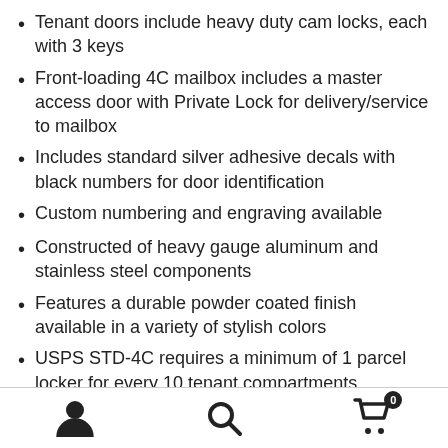Tenant doors include heavy duty cam locks, each with 3 keys
Front-loading 4C mailbox includes a master access door with Private Lock for delivery/service to mailbox
Includes standard silver adhesive decals with black numbers for door identification
Custom numbering and engraving available
Constructed of heavy gauge aluminum and stainless steel components
Features a durable powder coated finish available in a variety of stylish colors
USPS STD-4C requires a minimum of 1 parcel locker for every 10 tenant compartments
Outgoing mail compartment includes a mail slot, anti-fish comb for security, and protective hood for weather
User icon | Search icon | Cart icon with badge 0